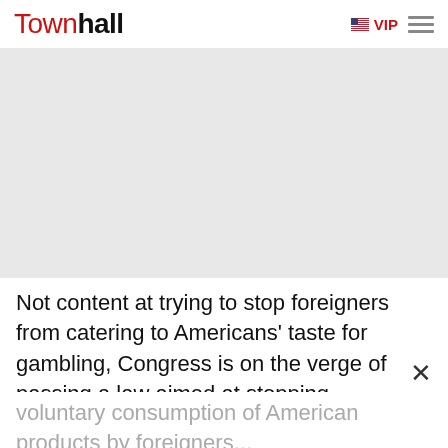Townhall ≡VIP ☰
[Figure (other): Gray advertisement/banner placeholder area]
Not content at trying to stop foreigners from catering to Americans' taste for gambling, Congress is on the verge of passing a law aimed at stopping Americans from catering to foreigners' taste for horsemeat. I generally avoid the phrase "cultural imperialism."
voluntary consumption of American products by foreigners...